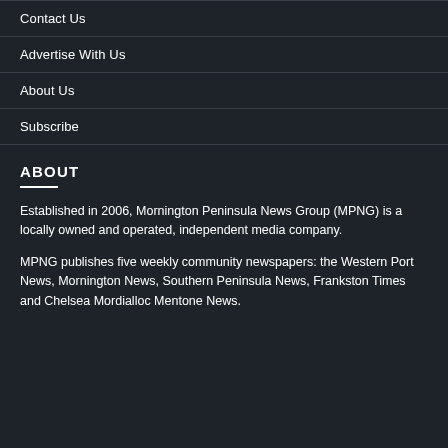Contact Us
Advertise With Us
About Us
Subscribe
ABOUT
Established in 2006, Mornington Peninsula News Group (MPNG) is a locally owned and operated, independent media company.
MPNG publishes five weekly community newspapers: the Western Port News, Mornington News, Southern Peninsula News, Frankston Times and Chelsea Mordialloc Mentone News.